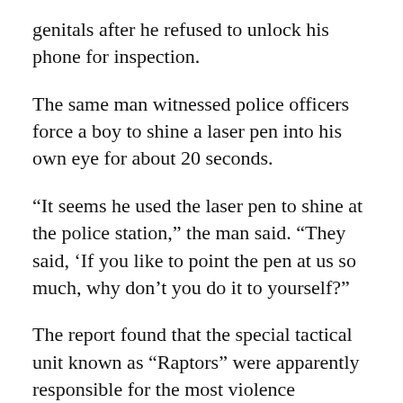genitals after he refused to unlock his phone for inspection.
The same man witnessed police officers force a boy to shine a laser pen into his own eye for about 20 seconds.
“It seems he used the laser pen to shine at the police station,” the man said. “They said, ‘If you like to point the pen at us so much, why don’t you do it to yourself?”
The report found that the special tactical unit known as “Raptors” were apparently responsible for the most violence